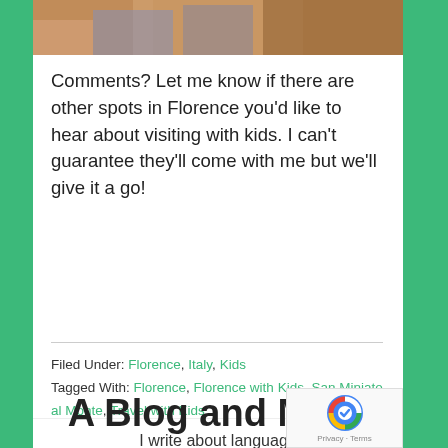[Figure (photo): Partial photo of people, cut off at top, showing clothing in blue/orange tones]
Comments? Let me know if there are other spots in Florence you'd like to hear about visiting with kids. I can't guarantee they'll come with me but we'll give it a go!
Filed Under: Florence, Italy, Kids
Tagged With: Florence, Florence with Kids, San Miniato al Monte, Travel with Kids
A Blog and More
I write about language